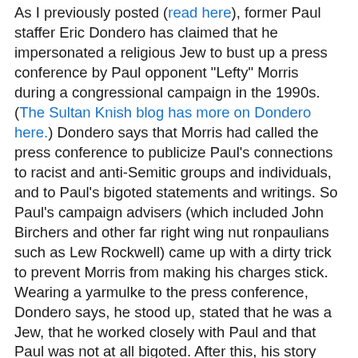As I previously posted (read here), former Paul staffer Eric Dondero has claimed that he impersonated a religious Jew to bust up a press conference by Paul opponent "Lefty" Morris during a congressional campaign in the 1990s. (The Sultan Knish blog has more on Dondero here.) Dondero says that Morris had called the press conference to publicize Paul's connections to racist and anti-Semitic groups and individuals, and to Paul's bigoted statements and writings. So Paul's campaign advisers (which included John Birchers and other far right wing nut ronpaulians such as Lew Rockwell) came up with a dirty trick to prevent Morris from making his charges stick. Wearing a yarmulke to the press conference, Dondero says, he stood up, stated that he was a Jew, that he worked closely with Paul and that Paul was not at all bigoted. After this, his story goes, the issue was abandoned and Paul won the election.
Dondero now says that this dirty trick deceived on several levels. Although he says he has some Jewish ancestry via his father, he was not raised Jewish and did not identify as such. He also now says that Paul is a bigot and has longstanding connections to problematic groups. Dondero's